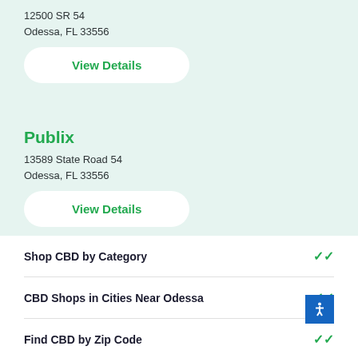12500 SR 54
Odessa, FL 33556
View Details
Publix
13589 State Road 54
Odessa, FL 33556
View Details
Shop CBD by Category
CBD Shops in Cities Near Odessa
Find CBD by Zip Code